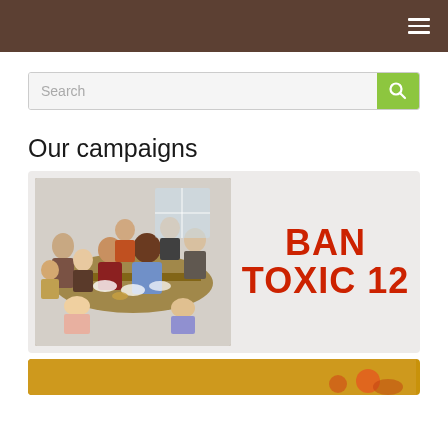Search
Our campaigns
[Figure (photo): People gathered around a dining table sharing a meal, family gathering scene. Overlaid with bold red text reading BAN TOXIC 12]
[Figure (photo): Partial image with yellow/gold background, appears to show food items]